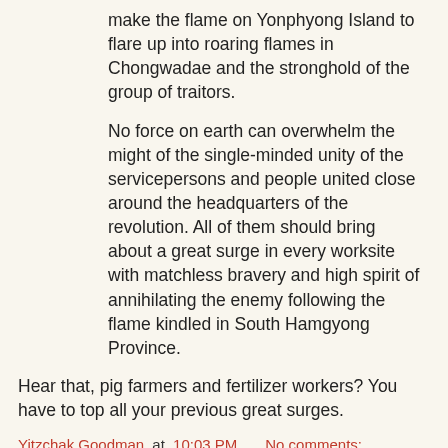make the flame on Yonphyong Island to flare up into roaring flames in Chongwadae and the stronghold of the group of traitors.
No force on earth can overwhelm the might of the single-minded unity of the servicepersons and people united close around the headquarters of the revolution. All of them should bring about a great surge in every worksite with matchless bravery and high spirit of annihilating the enemy following the flame kindled in South Hamgyong Province.
Hear that, pig farmers and fertilizer workers? You have to top all your previous great surges.
Yitzchak Goodman at 10:03 PM    No comments:
Share
Ready-Pac recall